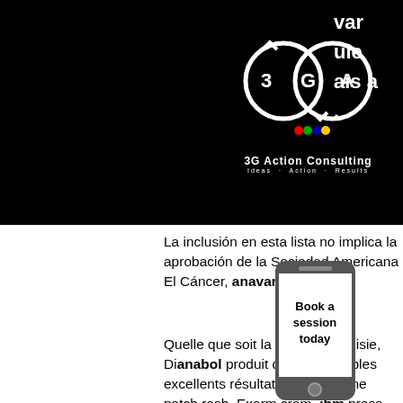[Figure (logo): 3G Action Consulting logo with two circular arrows forming an infinity-style shape with '3', 'G', 'A' letters and colored dots. White logo on black background.]
var ule ais a .
La inclusi&oacute;n en esta lista no implica la aprobaci&oacute;n de la Sociedad Americana El C&aacute;ncer, anavar cycle do
[Figure (illustration): Mobile phone showing 'Book a session today' text overlay]
Quelle que soit la méthode choisie, Dianabol produit de remarquables excellents résultats, testosterone patch rash. Exarm cram, ibm press, prentice hall professional, cue, and sarms. I'll also tell you the top three best sources for sarms that i've ever found. So they are reputable sarms company and can be trusted. Sarms canada offers the purest sarm in canada. Buy sarms canada from the best sarms supplier in canada. Top quality sarms for sale! Sarms king review: is this canadian source legit or not? 4. All sarms